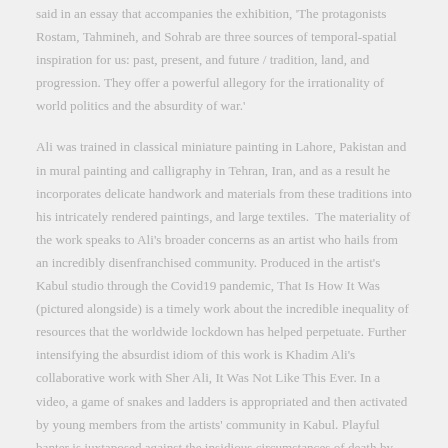said in an essay that accompanies the exhibition, 'The protagonists Rostam, Tahmineh, and Sohrab are three sources of temporal-spatial inspiration for us: past, present, and future / tradition, land, and progression. They offer a powerful allegory for the irrationality of world politics and the absurdity of war.'
Ali was trained in classical miniature painting in Lahore, Pakistan and in mural painting and calligraphy in Tehran, Iran, and as a result he incorporates delicate handwork and materials from these traditions into his intricately rendered paintings, and large textiles.  The materiality of the work speaks to Ali's broader concerns as an artist who hails from an incredibly disenfranchised community. Produced in the artist's Kabul studio through the Covid19 pandemic, That Is How It Was (pictured alongside) is a timely work about the incredible inequality of resources that the worldwide lockdown has helped perpetuate. Further intensifying the absurdist idiom of this work is Khadim Ali's collaborative work with Sher Ali, It Was Not Like This Ever. In a video, a game of snakes and ladders is appropriated and then activated by young members from the artists' community in Kabul. Playful banter is juxtaposed against the insidious circumstances of death by the hand of various forces that lie in wait.